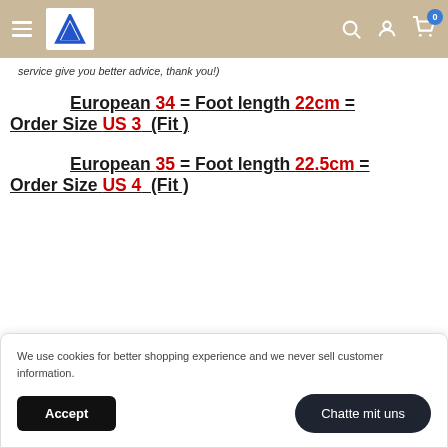Navigation header with logo and icons
service give you better advice, thank you!)
European 34 = Foot length 22cm = Order Size US 3 (Fit )
European 35 = Foot length 22.5cm = Order Size US 4 (Fit )
We use cookies for better shopping experience and we never sell customer information.